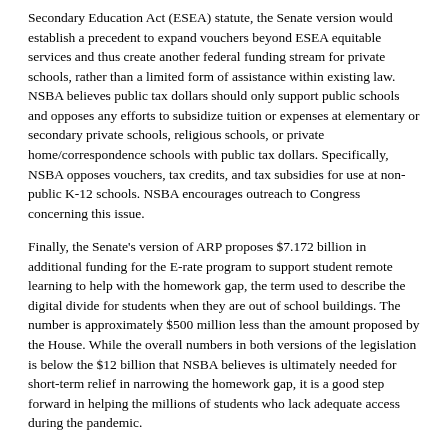Secondary Education Act (ESEA) statute, the Senate version would establish a precedent to expand vouchers beyond ESEA equitable services and thus create another federal funding stream for private schools, rather than a limited form of assistance within existing law.  NSBA believes public tax dollars should only support public schools and opposes any efforts to subsidize tuition or expenses at elementary or secondary private schools, religious schools, or private home/correspondence schools with public tax dollars. Specifically, NSBA opposes vouchers, tax credits, and tax subsidies for use at non-public K-12 schools. NSBA encourages outreach to Congress concerning this issue.
Finally, the Senate's version of ARP proposes $7.172 billion in additional funding for the E-rate program to support student remote learning to help with the homework gap, the term used to describe the digital divide for students when they are out of school buildings. The number is approximately $500 million less than the amount proposed by the House. While the overall numbers in both versions of the legislation is below the $12 billion that NSBA believes is ultimately needed for short-term relief in narrowing the homework gap, it is a good step forward in helping the millions of students who lack adequate access during the pandemic.
After releasing the text of the bill in the Senate, members voted along party lines to proceed to debate on this updated version of ARP Thursday afternoon. The Senate's formal consideration of this bill is expected to be protracted and will likely last through much of the weekend. However, this legislation is widely expected to pass narrowly along party lines—a sequence of events that would send the bill back to the House for final consideration and likely passage sometime next week.